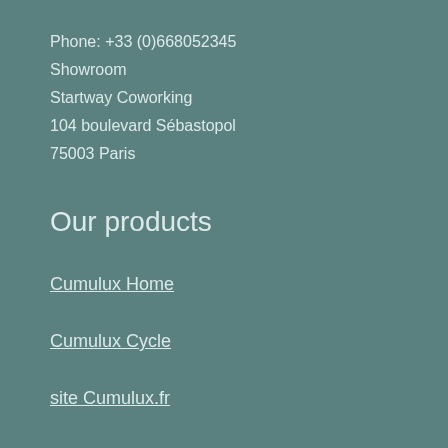Phone: +33 (0)668052345
Showroom
Startway Coworking
104 boulevard Sébastopol
75003 Paris
Our products
Cumulux Home
Cumulux Cycle
site Cumulux.fr